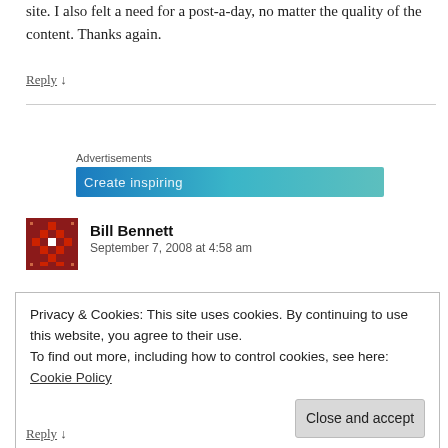site. I also felt a need for a post-a-day, no matter the quality of the content. Thanks again.
Reply ↓
[Figure (other): Advertisements banner with blue gradient background and partial text 'Create inspiring']
[Figure (other): Red pixel-art style avatar/logo for Bill Bennett]
Bill Bennett
September 7, 2008 at 4:58 am
Privacy & Cookies: This site uses cookies. By continuing to use this website, you agree to their use.
To find out more, including how to control cookies, see here: Cookie Policy

Close and accept
Reply ↓